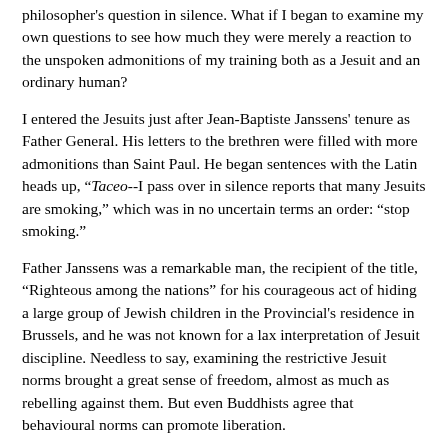philosopher's question in silence. What if I began to examine my own questions to see how much they were merely a reaction to the unspoken admonitions of my training both as a Jesuit and an ordinary human?
I entered the Jesuits just after Jean-Baptiste Janssens' tenure as Father General. His letters to the brethren were filled with more admonitions than Saint Paul. He began sentences with the Latin heads up, "Taceo--I pass over in silence reports that many Jesuits are smoking," which was in no uncertain terms an order: "stop smoking."
Father Janssens was a remarkable man, the recipient of the title, "Righteous among the nations" for his courageous act of hiding a large group of Jewish children in the Provincial's residence in Brussels, and he was not known for a lax interpretation of Jesuit discipline. Needless to say, examining the restrictive Jesuit norms brought a great sense of freedom, almost as much as rebelling against them. But even Buddhists agree that behavioural norms can promote liberation.